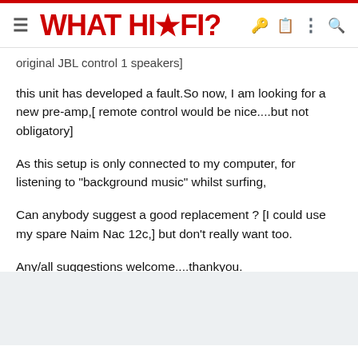WHAT HI-FI?
original JBL control 1 speakers]
this unit has developed a fault.So now, I am looking for a new pre-amp,[ remote control would be nice....but not obligatory]
As this setup is only connected to my computer, for listening to "background music" whilst surfing,
Can anybody suggest a good replacement ? [I could use my spare Naim Nac 12c,] but don't really want too.
Any/all suggestions welcome....thankyou.